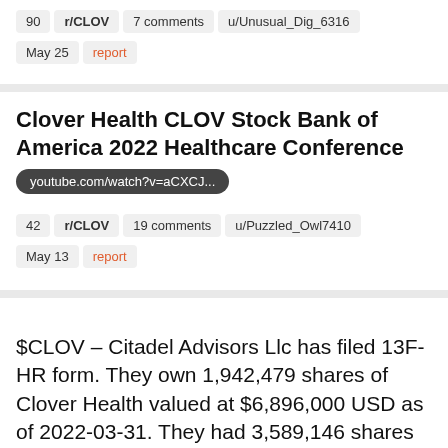90   r/CLOV   7 comments   u/Unusual_Dig_6316
May 25   report
Clover Health CLOV Stock Bank of America 2022 Healthcare Conference
youtube.com/watch?v=aCXCJ...
42   r/CLOV   19 comments   u/Puzzled_Owl7410
May 13   report
$CLOV – Citadel Advisors Llc has filed 13F-HR form. They own 1,942,479 shares of Clover Health valued at $6,896,000 USD as of 2022-03-31. They had 3,589,146 shares valued at $13,352,000 USD as of 2021-12-31. Change in shares of -45.88% and a change in value of -48.35% during quarter